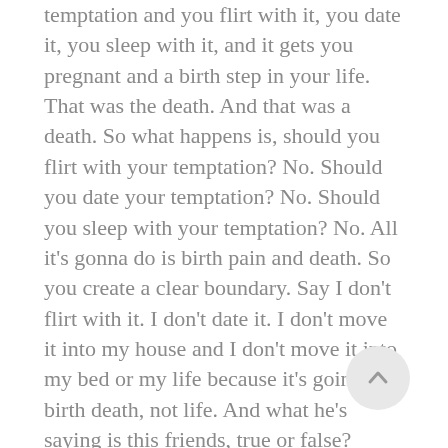temptation and you flirt with it, you date it, you sleep with it, and it gets you pregnant and a birth step in your life. That was the death. And that was a death. So what happens is, should you flirt with your temptation? No. Should you date your temptation? No. Should you sleep with your temptation? No. All it's gonna do is birth pain and death. So you create a clear boundary. Say I don't flirt with it. I don't date it. I don't move it into my house and I don't move it into my bed or my life because it's going to birth death, not life. And what he's saying is this friends, true or false? When the trial is the strongest, the temptation is the deepest. And this is where under pressure, we make some of our worst